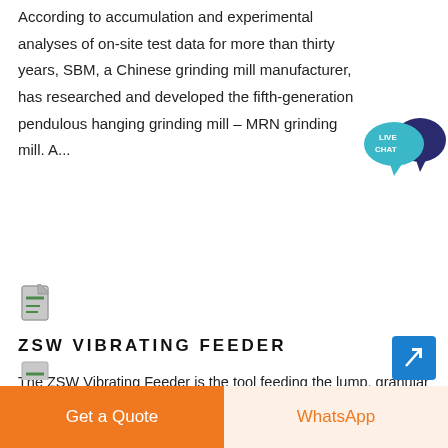According to accumulation and experimental analyses of on-site test data for more than thirty years, SBM, a Chinese grinding mill manufacturer, has researched and developed the fifth-generation pendulous hanging grinding mill – MRN grinding mill. A...
[Figure (logo): Small document/file icon for ZSW Vibrating Feeder product]
ZSW VIBRATING FEEDER
The ZSW Vibrating Feeder is the tool feeding the lump, granular and powdery materials from the warehouse or hopper into the material receiving equipment in a uniform and continuous manner or by certain amount. In crushing lines, this product can feed...
[Figure (logo): Live Chat speech bubble icon in teal/blue with text LIVE CHAT]
[Figure (other): Blue arrow button pointing top-right]
[Figure (other): Partial document/file icon at bottom left]
Get a Quote
WhatsApp